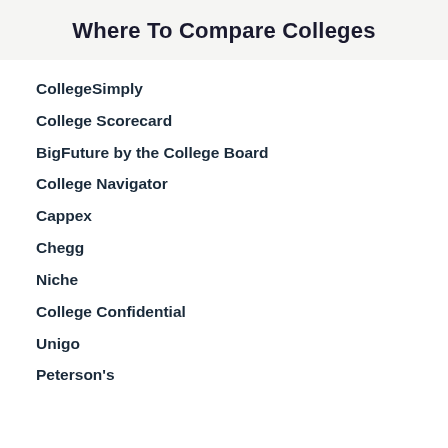Where To Compare Colleges
CollegeSimply
College Scorecard
BigFuture by the College Board
College Navigator
Cappex
Chegg
Niche
College Confidential
Unigo
Peterson's